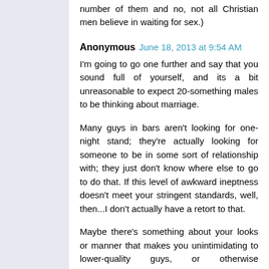number of them and no, not all Christian men believe in waiting for sex.)
Anonymous  June 18, 2013 at 9:54 AM
I'm going to go one further and say that you sound full of yourself, and its a bit unreasonable to expect 20-something males to be thinking about marriage.
Many guys in bars aren't looking for one-night stand; they're actually looking for someone to be in some sort of relationship with; they just don't know where else to go to do that. If this level of awkward ineptness doesn't meet your stringent standards, well, then...I don't actually have a retort to that.
Maybe there's something about your looks or manner that makes you unintimidating to lower-quality guys, or otherwise approachable. Judgin by your post, its not your personality